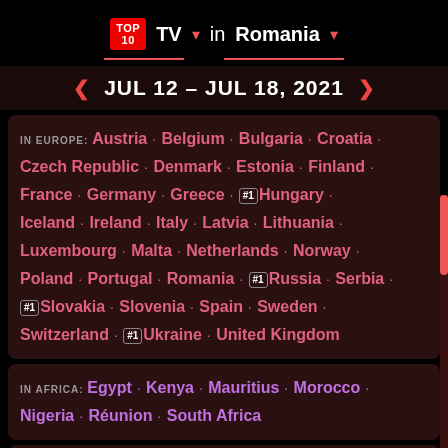TOP 10 TV in Romania JUL 12 - JUL 18, 2021
IN EUROPE: Austria · Belgium · Bulgaria · Croatia · Czech Republic · Denmark · Estonia · Finland · France · Germany · Greece · #1 Hungary · Iceland · Ireland · Italy · Latvia · Lithuania · Luxembourg · Malta · Netherlands · Norway · Poland · Portugal · Romania · #1 Russia · Serbia · #1 Slovakia · Slovenia · Spain · Sweden · Switzerland · #1 Ukraine · United Kingdom
IN AFRICA: Egypt · Kenya · Mauritius · Morocco · Nigeria · Réunion · South Africa
IN ASIA: Bahrain · Bangladesh · Cyprus · Hong Kong · India · Indonesia · Israel · Jordan · Kuwait · Lebanon · Malaysia · Maldives · Oman